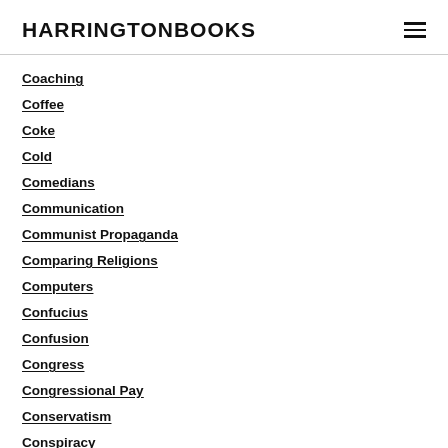HARRINGTONBOOKS
Coaching
Coffee
Coke
Cold
Comedians
Communication
Communist Propaganda
Comparing Religions
Computers
Confucius
Confusion
Congress
Congressional Pay
Conservatism
Conspiracy
Conspiracy Threory